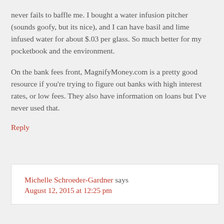never fails to baffle me. I bought a water infusion pitcher (sounds goofy, but its nice), and I can have basil and lime infused water for about $.03 per glass. So much better for my pocketbook and the environment.
On the bank fees front, MagnifyMoney.com is a pretty good resource if you're trying to figure out banks with high interest rates, or low fees. They also have information on loans but I've never used that.
Reply
Michelle Schroeder-Gardner says
August 12, 2015 at 12:25 pm